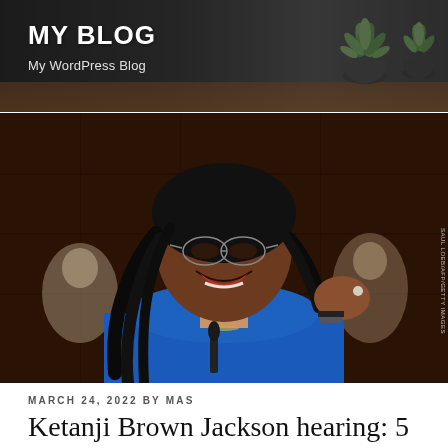MY BLOG
My WordPress Blog
[Figure (photo): Woman in blue blazer wearing glasses, smiling and gesturing with her hand while speaking at a microphone, at what appears to be a Senate confirmation hearing. Other people visible in background.]
MARCH 24, 2022 BY MAS
Ketanji Brown Jackson hearing: 5 takeaways from Wednesday